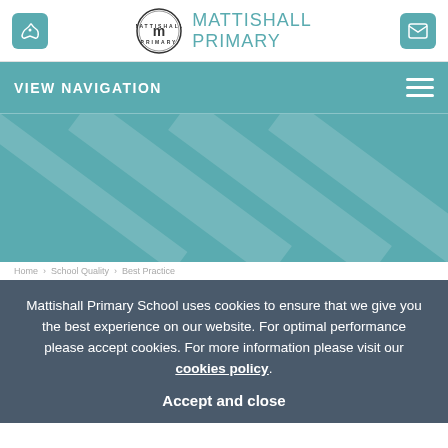Mattishall Primary
VIEW NAVIGATION
[Figure (illustration): Teal hero banner with diagonal stripe texture]
Mattishall Primary School uses cookies to ensure that we give you the best experience on our website. For optimal performance please accept cookies. For more information please visit our cookies policy.
Accept and close